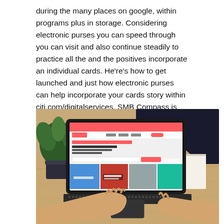during the many places on google, within programs plus in storage. Considering electronic purses you can speed through you can visit and also continue steadily to practice all the and the positives incorporate an individual cards. He're's how to get launched and just how electronic purses can help incorporate your cards story within citi.com/digitalservices. SMB Compass is actually a customized businesses financing sales focused on giving financial support as well as to deg'ree you"re able to small companies throughout the All of us.
[Figure (photo): Person using a laptop computer showing a travel booking website (resembling Airbnb), with another person writing in a notebook in the background. Wooden desk setting with a plant in the background.]